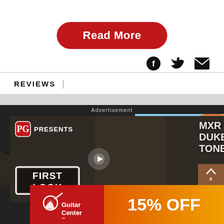Read More
[Figure (illustration): Social media icons: Facebook, Twitter, Email]
REVIEWS |
[Figure (screenshot): Video player showing PG Presents: MXR Duke of Tone, First Look segment with a musician holding a guitar]
Advertisement
[Figure (illustration): Guitar Center advertisement banner showing 15% OFF with Guitar Center logo on red background and orange gradient]